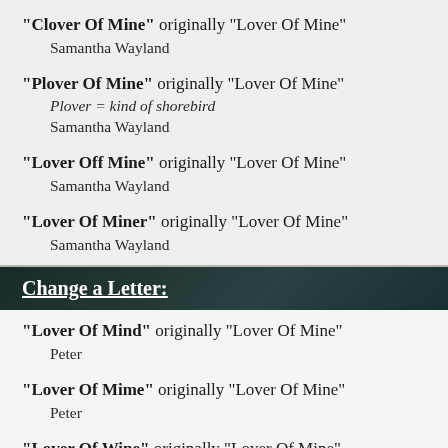"Clover Of Mine" originally "Lover Of Mine" — Samantha Wayland
"Plover Of Mine" originally "Lover Of Mine" — Plover = kind of shorebird — Samantha Wayland
"Lover Off Mine" originally "Lover Of Mine" — Samantha Wayland
"Lover Of Miner" originally "Lover Of Mine" — Samantha Wayland
Change a Letter:
"Lover Of Mind" originally "Lover Of Mine" — Peter
"Lover Of Mime" originally "Lover Of Mine" — Peter
"Lover Of Wine" originally "Lover Of Mine" — Peter